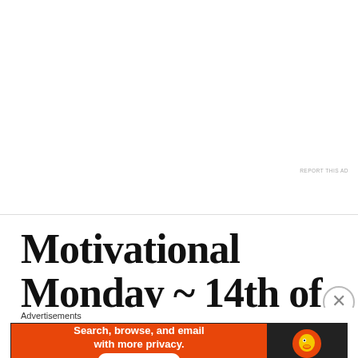[Figure (other): White blank advertisement space at the top of the page with a small 'REPORT THIS AD' text in the upper right area]
Motivational Monday ~ 14th of February
Advertisements
[Figure (screenshot): DuckDuckGo advertisement banner with orange background on left saying 'Search, browse, and email with more privacy. All in One Free App' and dark background on right with DuckDuckGo logo]